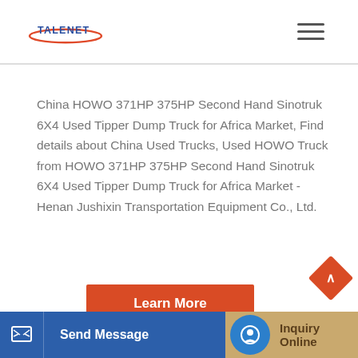TALENET
China HOWO 371HP 375HP Second Hand Sinotruk 6X4 Used Tipper Dump Truck for Africa Market, Find details about China Used Trucks, Used HOWO Truck from HOWO 371HP 375HP Second Hand Sinotruk 6X4 Used Tipper Dump Truck for Africa Market - Henan Jushixin Transportation Equipment Co., Ltd.
Learn More
Send Message
Inquiry Online